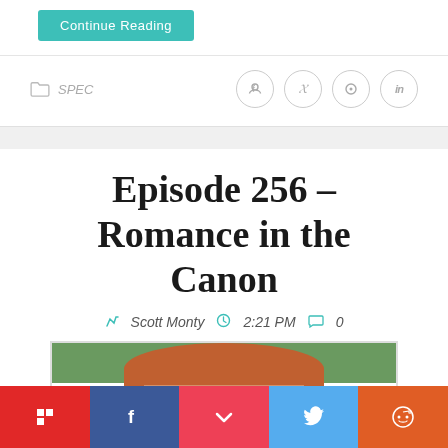Continue Reading
SPEC
Episode 256 – Romance in the Canon
Scott Monty  2:21 PM  0
[Figure (photo): Partial face of a person with reddish-brown hair against a green background, cropped to show top of head]
Social share bar with Flipboard, Facebook, Pocket, Twitter, Reddit buttons